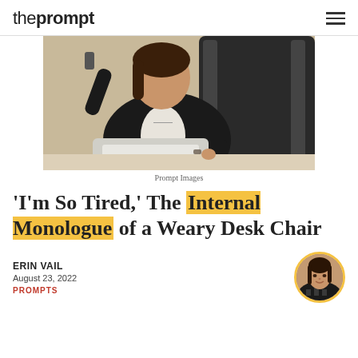theprompt
[Figure (photo): A woman in a black blazer over a white top sits in a black leather office chair, speaking on the phone with one hand while typing on a silver MacBook laptop on a light-colored desk.]
Prompt Images
'I'm So Tired,' The Internal Monologue of a Weary Desk Chair
ERIN VAIL
August 23, 2022
PROMPTS
[Figure (photo): Circular avatar photo of author Erin Vail, a young woman with dark hair, smiling, wearing a patterned top, with a warm background.]